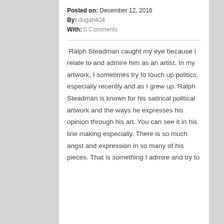Posted on: December 12, 2016
By: dugah404
With: 0 Comments
Ralph Steadman caught my eye because I relate to and admire him as an artist. In my artwork, I sometimes try to touch up politics, especially recently and as I grew up. Ralph Steadman is known for his satirical political artwork and the ways he expresses his opinion through his art. You can see it in his line making especially. There is so much angst and expression in so many of his pieces. That is something I admire and try to